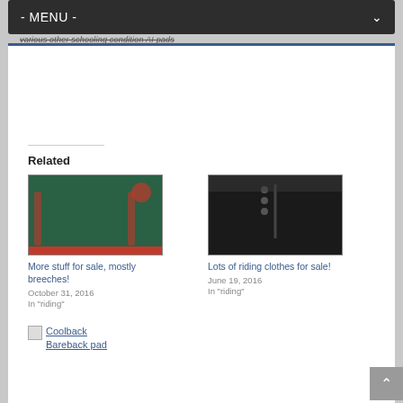- MENU -
various other schooling condition AI pads
Related
[Figure (photo): Green horse rug/blanket with red trim on wooden floor]
More stuff for sale, mostly breeches!
October 31, 2016
In "riding"
[Figure (photo): Dark black clothing/riding jacket laid flat]
Lots of riding clothes for sale!
June 19, 2016
In "riding"
Coolback Bareback pad
Facebook Pony blog